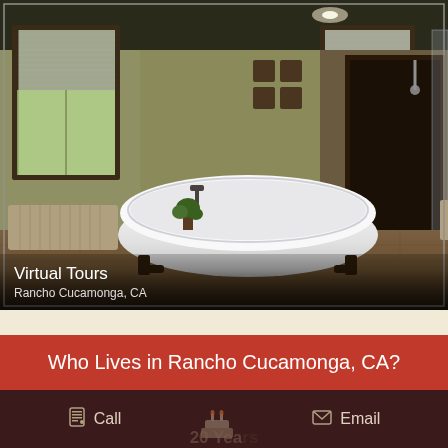[Figure (photo): Panoramic photo of a luxury bathroom with a freestanding clawfoot bathtub in the center, two windows with blinds on the left and center, wall decorations, radiators, a toilet, and a walk-in shower with glass wall and dark wood door on the right. The floor is tiled wood-look. Overlay text reads 'Virtual Tours' and 'Rancho Cucamonga, CA'.]
Virtual Tours
Rancho Cucamonga, CA
Who Lives in Rancho Cucamonga, CA?
Call
Email